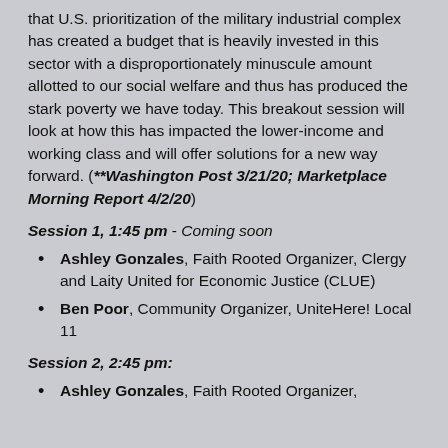that U.S. prioritization of the military industrial complex has created a budget that is heavily invested in this sector with a disproportionately minuscule amount allotted to our social welfare and thus has produced the stark poverty we have today. This breakout session will look at how this has impacted the lower-income and working class and will offer solutions for a new way forward. (**Washington Post 3/21/20; Marketplace Morning Report 4/2/20)
Session 1, 1:45 pm - Coming soon
Ashley Gonzales, Faith Rooted Organizer, Clergy and Laity United for Economic Justice (CLUE)
Ben Poor, Community Organizer, UniteHere! Local 11
Session 2, 2:45 pm:
Ashley Gonzales, Faith Rooted Organizer,